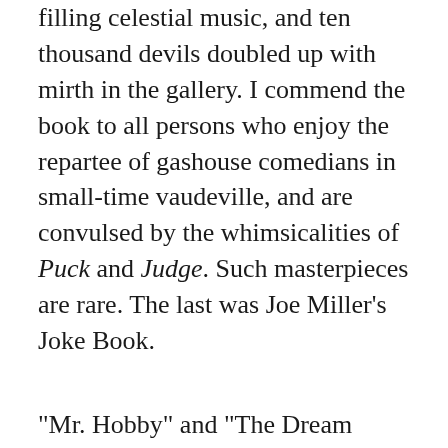filling celestial music, and ten thousand devils doubled up with mirth in the gallery. I commend the book to all persons who enjoy the repartee of gashouse comedians in small-time vaudeville, and are convulsed by the whimsicalities of Puck and Judge. Such masterpieces are rare. The last was Joe Miller’s Joke Book.
“Mr. Hobby” and “The Dream Girl” are sentimental tales which forcibly suggest jars full of pink and white stick candy, and so they need not detain us more than a moment. The former is remarkable for the fact that the hero is called